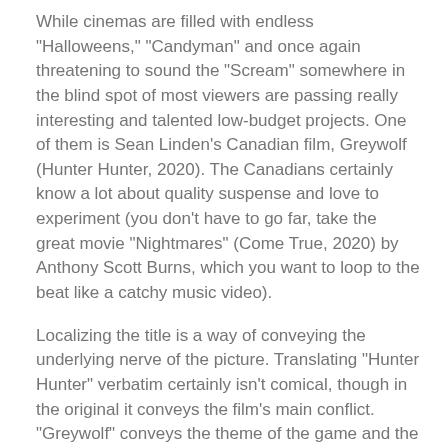While cinemas are filled with endless "Halloweens," "Candyman" and once again threatening to sound the "Scream" somewhere in the blind spot of most viewers are passing really interesting and talented low-budget projects. One of them is Sean Linden's Canadian film, Greywolf (Hunter Hunter, 2020). The Canadians certainly know a lot about quality suspense and love to experiment (you don't have to go far, take the great movie "Nightmares" (Come True, 2020) by Anthony Scott Burns, which you want to loop to the beat like a catchy music video).
Localizing the title is a way of conveying the underlying nerve of the picture. Translating "Hunter Hunter" verbatim certainly isn't comical, though in the original it conveys the film's main conflict. "Greywolf" conveys the theme of the game and the effect of underestimating the threat. And that's present, too. So, I wouldn't scold much for this adaptation.
The film doesn't have a starting point and it starts from...